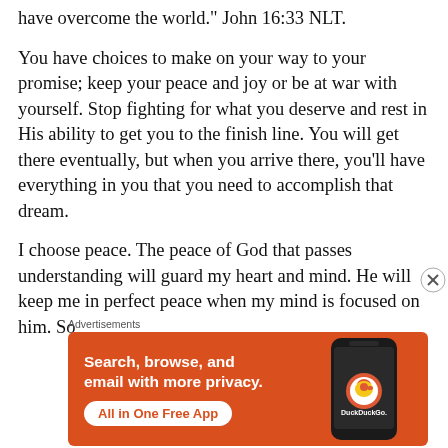have overcome the world." John 16:33 NLT.
You have choices to make on your way to your promise; keep your peace and joy or be at war with yourself. Stop fighting for what you deserve and rest in His ability to get you to the finish line. You will get there eventually, but when you arrive there, you'll have everything in you that you need to accomplish that dream.
I choose peace. The peace of God that passes understanding will guard my heart and mind. He will keep me in perfect peace when my mind is focused on him. So
Advertisements
[Figure (screenshot): DuckDuckGo advertisement banner with orange background showing 'Search, browse, and email with more privacy. All in One Free App' with a phone image and DuckDuckGo logo.]